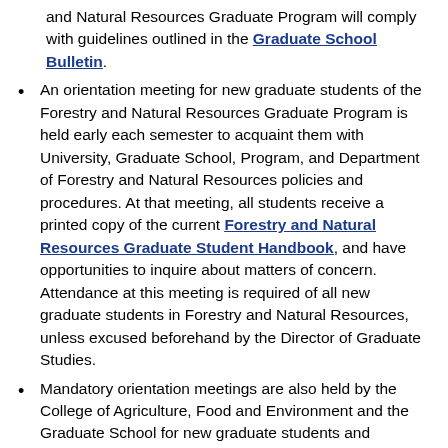and Natural Resources Graduate Program will comply with guidelines outlined in the Graduate School Bulletin.
An orientation meeting for new graduate students of the Forestry and Natural Resources Graduate Program is held early each semester to acquaint them with University, Graduate School, Program, and Department of Forestry and Natural Resources policies and procedures. At that meeting, all students receive a printed copy of the current Forestry and Natural Resources Graduate Student Handbook, and have opportunities to inquire about matters of concern. Attendance at this meeting is required of all new graduate students in Forestry and Natural Resources, unless excused beforehand by the Director of Graduate Studies.
Mandatory orientation meetings are also held by the College of Agriculture, Food and Environment and the Graduate School for new graduate students and teaching assistants. Contact the Director of...